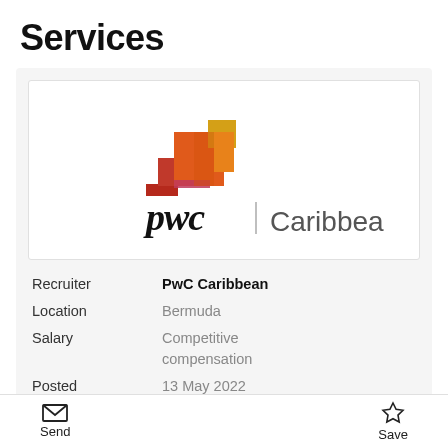Services
[Figure (logo): PwC Caribbean logo — PwC wordmark in black serif with colored stacked block graphic above, vertical bar separator, and 'Caribbean' text in grey]
Recruiter	PwC Caribbean
Location	Bermuda
Salary	Competitive compensation
Posted	13 May 2022
Send	Save